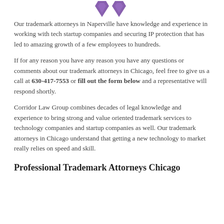[Figure (logo): Two purple shield/gem icons side by side at the top of the page]
Our trademark attorneys in Naperville have knowledge and experience in working with tech startup companies and securing IP protection that has led to amazing growth of a few employees to hundreds.
If for any reason you have any reason you have any questions or comments about our trademark attorneys in Chicago, feel free to give us a call at 630-417-7553 or fill out the form below and a representative will respond shortly.
Corridor Law Group combines decades of legal knowledge and experience to bring strong and value oriented trademark services to technology companies and startup companies as well. Our trademark attorneys in Chicago understand that getting a new technology to market really relies on speed and skill.
Professional Trademark Attorneys Chicago